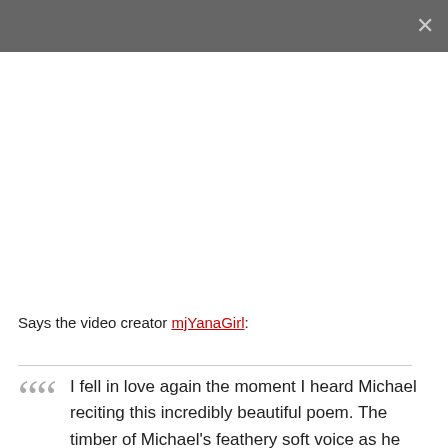×
Says the video creator mjYanaGirl:
"I fell in love again the moment I heard Michael reciting this incredibly beautiful poem. The timber of Michael's feathery soft voice as he walks us through his thoughts soothes